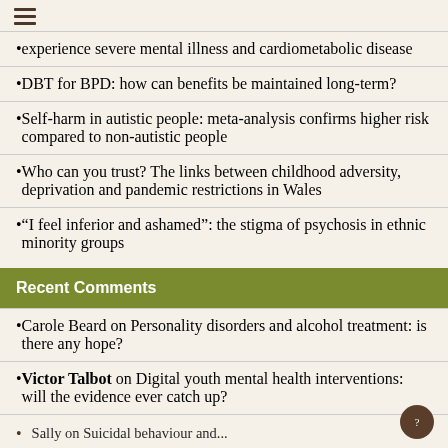☰
experience severe mental illness and cardiometabolic disease
DBT for BPD: how can benefits be maintained long-term?
Self-harm in autistic people: meta-analysis confirms higher risk compared to non-autistic people
Who can you trust? The links between childhood adversity, deprivation and pandemic restrictions in Wales
“I feel inferior and ashamed”: the stigma of psychosis in ethnic minority groups
Recent Comments
Carole Beard on Personality disorders and alcohol treatment: is there any hope?
Victor Talbot on Digital youth mental health interventions: will the evidence ever catch up?
Sally on Suicidal behaviour and...